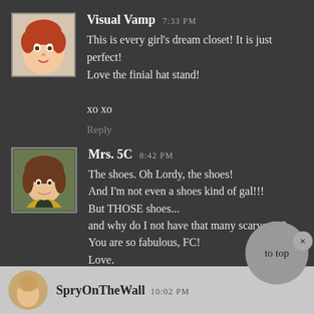[Figure (illustration): Avatar image of Visual Vamp commenter, cartoon-style face with red hair]
Visual Vamp 7:33 PM
This is every girl's dream closet! It is just perfect! Love the finial hat stand!
xo xo
Reply
[Figure (photo): Avatar photo of Mrs. 5C commenter, woman with brown hair and yellow jacket]
Mrs. 5C 8:42 PM
The shoes. Oh Lordy, the shoes!
And I'm not even a shoes kind of gal!!!
But THOSE shoes...
and why do I not have that many scarves???
You are so fabulous, FC!
Love.
It.
Reply
[Figure (illustration): "to top" button - grey circle with handwritten text]
[Figure (photo): Avatar of SpryOnTheWall commenter, partial circular crop]
SpryOnTheWall 10:02 PM